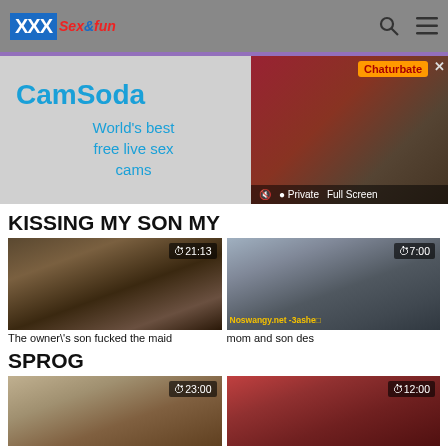XXX Sex&fun
[Figure (screenshot): CamSoda advertisement banner with 'World's best free live sex cams' text and Chaturbate branded video preview]
KISSING MY SON MY
[Figure (screenshot): Video thumbnail with duration 21:13]
[Figure (screenshot): Video thumbnail with duration 7:00 and noswangy.net -3ashe watermark]
The owner\'s son fucked the maid
mom and son des
SPROG
[Figure (screenshot): Video thumbnail with duration 23:00]
[Figure (screenshot): Video thumbnail with duration 12:00]